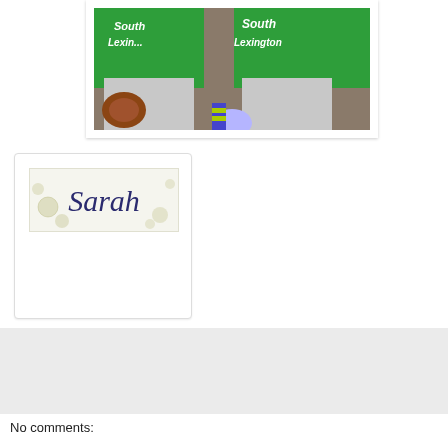[Figure (photo): Two people wearing green South Lexington softball/baseball jerseys sitting together, one holding a glove, wearing colorful socks]
[Figure (illustration): Author signature card showing the name 'Sarah' in cursive/script font on a light background with bubble/circle decorations]
Sarah at 9:57 AM
Share
No comments: